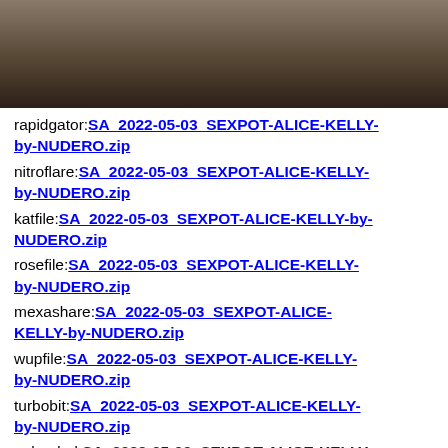[Figure (photo): A close-up photo of what appears to be a leather or fabric couch/sofa, dark and moody lighting, brown tones.]
rapidgator:SA_2022-05-03_SEXPOT-ALICE-KELLY-by-NUDERO.zip
nitroflare:SA_2022-05-03_SEXPOT-ALICE-KELLY-by-NUDERO.zip
katfile:SA_2022-05-03_SEXPOT-ALICE-KELLY-by-NUDERO.zip
rosefile:SA_2022-05-03_SEXPOT-ALICE-KELLY-by-NUDERO.zip
mexashare:SA_2022-05-03_SEXPOT-ALICE-KELLY-by-NUDERO.zip
wupfile:SA_2022-05-03_SEXPOT-ALICE-KELLY-by-NUDERO.zip
turbobit:SA_2022-05-03_SEXPOT-ALICE-KELLY-by-NUDERO.zip
uploaded:SA_2022-05-03_SEXPOT-ALICE-KELLY-by-NUDERO.zip